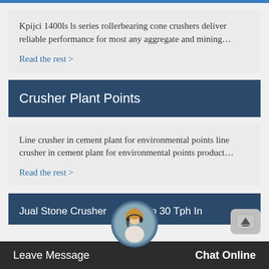Kpijci 1400ls ls series rollerbearing cone crushers deliver reliable performance for most any aggregate and mining…
Read the rest >
Crusher Plant Points
Line crusher in cement plant for environmental points line crusher in cement plant for environmental points product…
Read the rest >
Jual Stone Crusher Cap 30 Tph In
Leave Message
Chat Online